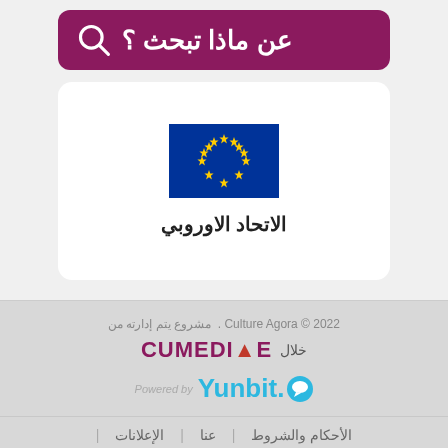عن ماذا تبحث ؟
[Figure (illustration): EU flag with blue background and circle of yellow stars, with Arabic label 'الاتحاد الاوروبي' below]
Culture Agora © 2022. مشروع يتم إدارته من خلال CUMEDIAE
[Figure (logo): Yunbit logo - Powered by Yunbit with chat bubble icon]
الأحكام والشروط | عنا | الإعلانات |
الإتصال